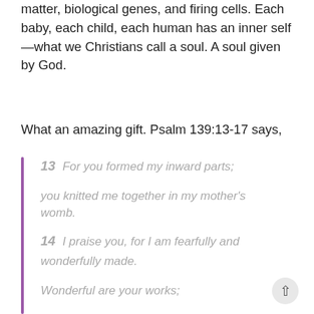matter, biological genes, and firing cells. Each baby, each child, each human has an inner self—what we Christians call a soul. A soul given by God.
What an amazing gift. Psalm 139:13-17 says,
13  For you formed my inward parts; you knitted me together in my mother's womb.
14  I praise you, for I am fearfully and wonderfully made.
Wonderful are your works;